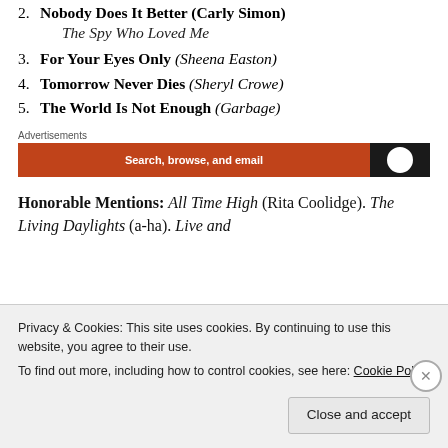2. Nobody Does It Better (Carly Simon) The Spy Who Loved Me
3. For Your Eyes Only (Sheena Easton)
4. Tomorrow Never Dies (Sheryl Crowe)
5. The World Is Not Enough (Garbage)
[Figure (infographic): Advertisement banner with orange and dark sections. Text reads: Search, browse, and email]
Honorable Mentions: All Time High (Rita Coolidge). The Living Daylights (a-ha). Live and
Privacy & Cookies: This site uses cookies. By continuing to use this website, you agree to their use.
To find out more, including how to control cookies, see here: Cookie Policy
Close and accept